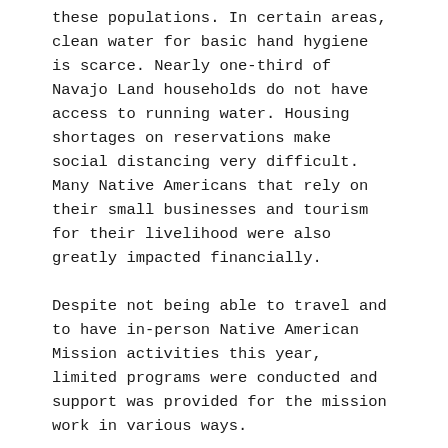these populations. In certain areas, clean water for basic hand hygiene is scarce. Nearly one-third of Navajo Land households do not have access to running water. Housing shortages on reservations make social distancing very difficult. Many Native Americans that rely on their small businesses and tourism for their livelihood were also greatly impacted financially.
Despite not being able to travel and to have in-person Native American Mission activities this year, limited programs were conducted and support was provided for the mission work in various ways.
Alabama Mission: In Alabama, a virtual Youth Retreat was arranged on Zoom for the first time in October. Native American youths from Alabama and Mar Thoma youths from all over the Diocese were able to spend time